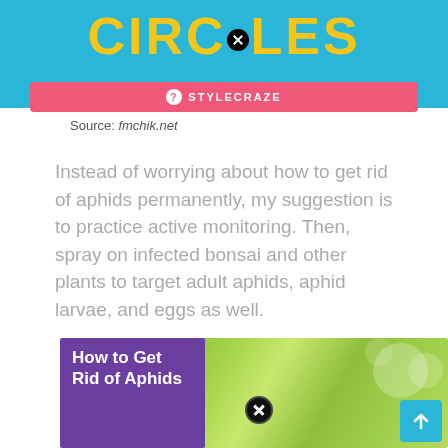[Figure (illustration): Blue banner with large yellow bold text 'CIRCLES' and a close/X circle button overlay, plus a pink Stylecraze branding bar beneath]
Source: fmchik.net
Instead of worrying about how to get rid of aphids permanently, my suggestion is to practice active monitoring. Then, spray on infected bonsai and other plants to target adult aphids, aphid larvae, and eggs as well.
[Figure (photo): Close-up photo of green curled leaves (possibly aphid-infested plant), with a purple overlay box in the lower-left showing text 'How to Get Rid of Aphids' and a close/X circle button overlay, plus a teal scroll-to-top button in the lower-right corner]